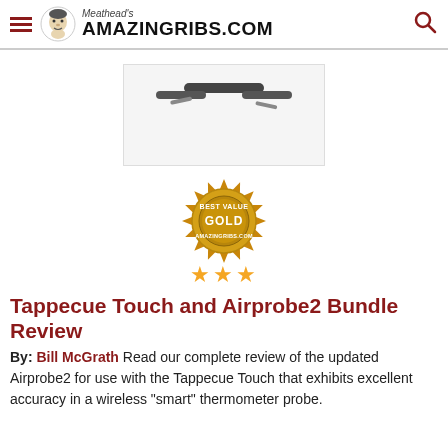Meathead's AmazingRibs.com
[Figure (photo): Product photo of Tappecue Touch and Airprobe2 wireless thermometer probes on white background]
[Figure (illustration): Gold 'Best Value' badge with text GOLD and AmazingRibs.com, with 3 gold stars below]
Tappecue Touch and Airprobe2 Bundle Review
By: Bill McGrath Read our complete review of the updated Airprobe2 for use with the Tappecue Touch that exhibits excellent accuracy in a wireless "smart" thermometer probe.